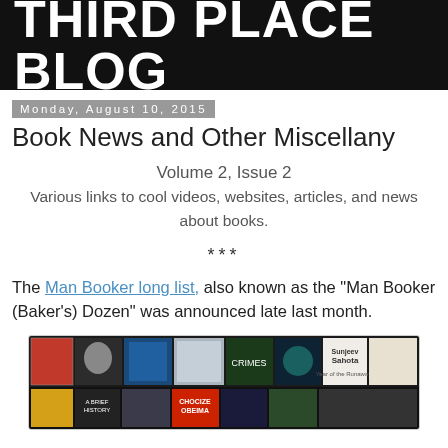THIRD PLACE BLOG
Monday, August 10, 2015
Book News and Other Miscellany
Volume 2, Issue 2
Various links to cool videos, websites, articles, and news about books.
***
The Man Booker long list, also known as the "Man Booker (Baker's) Dozen" was announced late last month.
[Figure (photo): Collage of book covers from the Man Booker long list, showing two rows of various book covers]